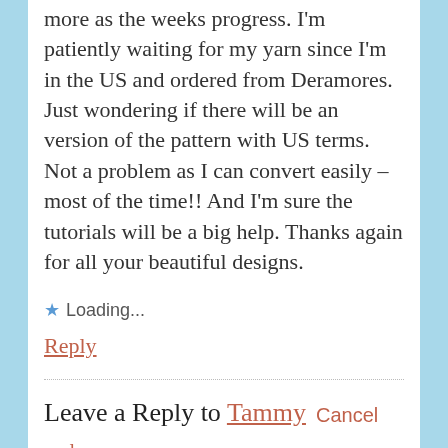more as the weeks progress. I'm patiently waiting for my yarn since I'm in the US and ordered from Deramores. Just wondering if there will be an version of the pattern with US terms. Not a problem as I can convert easily – most of the time!! And I'm sure the tutorials will be a big help. Thanks again for all your beautiful designs.
★ Loading...
Reply
Leave a Reply to Tammy   Cancel reply